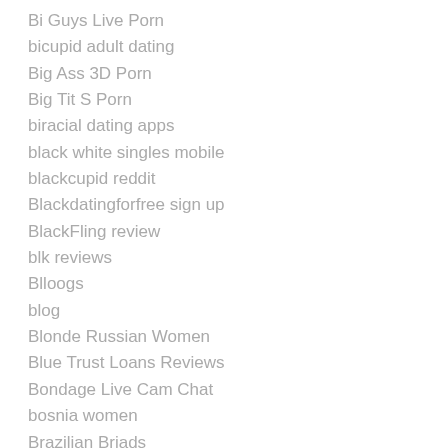Bi Guys Live Porn
bicupid adult dating
Big Ass 3D Porn
Big Tit S Porn
biracial dating apps
black white singles mobile
blackcupid reddit
Blackdatingforfree sign up
BlackFling review
blk reviews
Blloogs
blog
Blonde Russian Women
Blue Trust Loans Reviews
Bondage Live Cam Chat
bosnia women
Brazilian Briads
Brazilian Brides